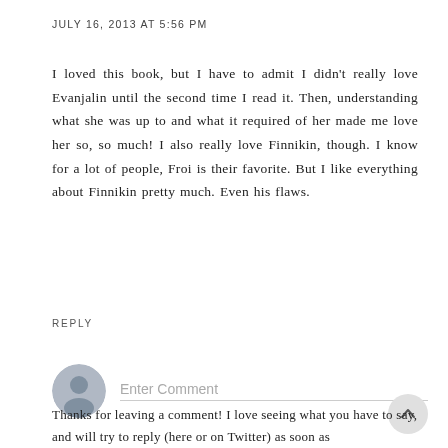JULY 16, 2013 AT 5:56 PM
I loved this book, but I have to admit I didn't really love Evanjalin until the second time I read it. Then, understanding what she was up to and what it required of her made me love her so, so much! I also really love Finnikin, though. I know for a lot of people, Froi is their favorite. But I like everything about Finnikin pretty much. Even his flaws.
REPLY
[Figure (other): User avatar placeholder circle with generic person silhouette icon, and an Enter Comment input field below with a bottom border]
Thanks for leaving a comment! I love seeing what you have to say, and will try to reply (here or on Twitter) as soon as